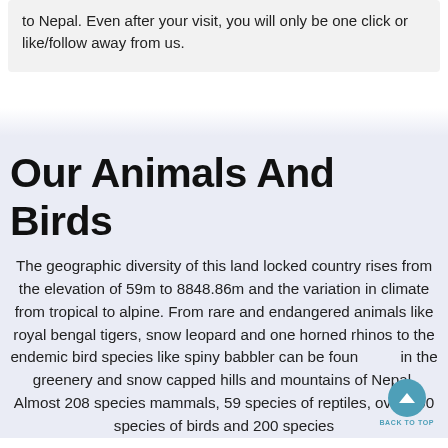to Nepal. Even after your visit, you will only be one click or like/follow away from us.
Our Animals And Birds
The geographic diversity of this land locked country rises from the elevation of 59m to 8848.86m and the variation in climate from tropical to alpine. From rare and endangered animals like royal bengal tigers, snow leopard and one horned rhinos to the endemic bird species like spiny babbler can be found in the greenery and snow capped hills and mountains of Nepal. Almost 208 species mammals, 59 species of reptiles, over 900 species of birds and 200 species